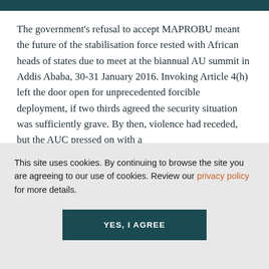The government's refusal to accept MAPROBU meant the future of the stabilisation force rested with African heads of states due to meet at the biannual AU summit in Addis Ababa, 30-31 January 2016. Invoking Article 4(h) left the door open for unprecedented forcible deployment, if two thirds agreed the security situation was sufficiently grave. By then, violence had receded, but the AUC pressed on with a
This site uses cookies. By continuing to browse the site you are agreeing to our use of cookies. Review our privacy policy for more details.